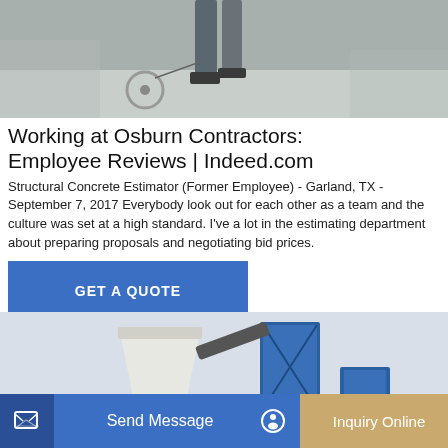[Figure (photo): Top portion of an industrial/construction scene, showing legs/feet of a person near machinery on a concrete floor.]
Working at Osburn Contractors: Employee Reviews | Indeed.com
Structural Concrete Estimator (Former Employee) - Garland, TX - September 7, 2017 Everybody look out for each other as a team and the culture was set at a high standard. I've a lot in the estimating department about preparing proposals and negotiating bid prices.
[Figure (other): GET A QUOTE button — blue rectangle with white text.]
[Figure (photo): Industrial concrete mixing machine with blue metal frame and white hopper, against a light grey background.]
Send Message
Inquiry Online